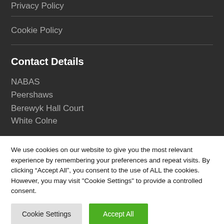Privacy Policy
Cookie Policy
Contact Details
NABAS
Peershaws
Berewyk Hall Court
White Colne
We use cookies on our website to give you the most relevant experience by remembering your preferences and repeat visits. By clicking “Accept All”, you consent to the use of ALL the cookies. However, you may visit "Cookie Settings" to provide a controlled consent.
Cookie Settings
Accept All